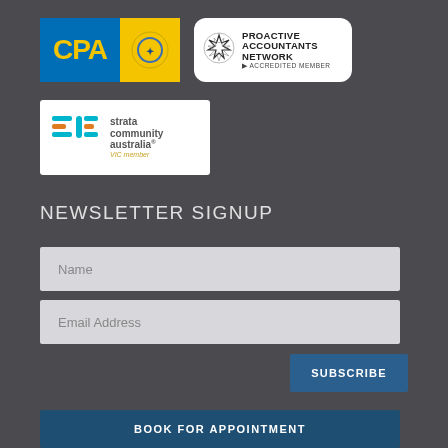[Figure (logo): CPA Australia logo — blue rectangle with yellow CPA text on left, yellow section with emblem on right]
[Figure (logo): Proactive Accountants Network — Accredited Member badge with star emblem on white rounded rectangle]
[Figure (logo): Strata Community Australia VIC member logo on white background]
NEWSLETTER SIGNUP
Name
Email Address
SUBSCRIBE
BOOK FOR APPOINTMENT